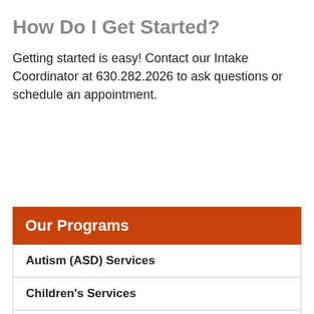How Do I Get Started?
Getting started is easy! Contact our Intake Coordinator at 630.282.2026 to ask questions or schedule an appointment.
Our Programs
Autism (ASD) Services
Children's Services
Adult Services
Employment & Training